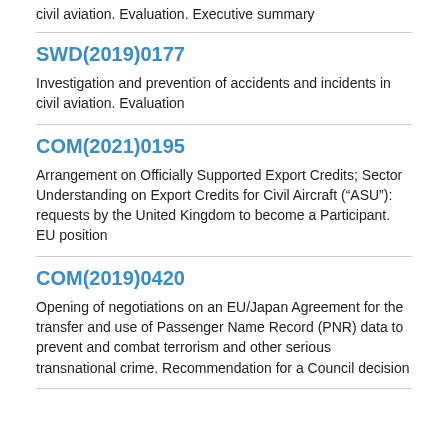civil aviation. Evaluation. Executive summary
SWD(2019)0177
Investigation and prevention of accidents and incidents in civil aviation. Evaluation
COM(2021)0195
Arrangement on Officially Supported Export Credits; Sector Understanding on Export Credits for Civil Aircraft (“ASU”): requests by the United Kingdom to become a Participant. EU position
COM(2019)0420
Opening of negotiations on an EU/Japan Agreement for the transfer and use of Passenger Name Record (PNR) data to prevent and combat terrorism and other serious transnational crime. Recommendation for a Council decision